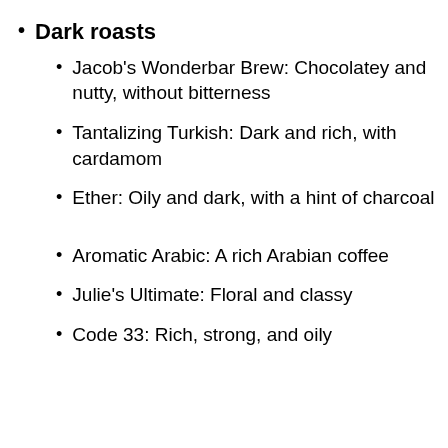Dark roasts
Jacob's Wonderbar Brew: Chocolatey and nutty, without bitterness
Tantalizing Turkish: Dark and rich, with cardamom
Ether: Oily and dark, with a hint of charcoal
Aromatic Arabic: A rich Arabian coffee
Julie's Ultimate: Floral and classy
Code 33: Rich, strong, and oily